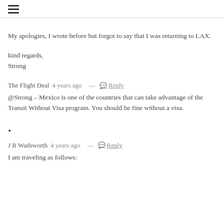≡
My apologies, I wrote before but forgot to say that I was returning to LAX.
kind regards,
Strong
The Flight Deal 4 years ago  —  💬 Reply
@Strong – Mexico is one of the countries that can take advantage of the Transit Without Visa program. You should be fine without a visa.
•
J R Wadsworth 4 years ago  —  💬 Reply
I am traveling as follows: